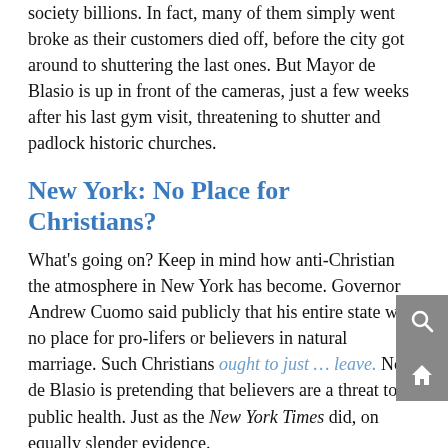society billions. In fact, many of them simply went broke as their customers died off, before the city got around to shuttering the last ones. But Mayor de Blasio is up in front of the cameras, just a few weeks after his last gym visit, threatening to shutter and padlock historic churches.
New York: No Place for Christians?
What's going on? Keep in mind how anti-Christian the atmosphere in New York has become. Governor Andrew Cuomo said publicly that his entire state was no place for pro-lifers or believers in natural marriage. Such Christians ought to just … leave. Now de Blasio is pretending that believers are a threat to public health. Just as the New York Times did, on equally slender evidence.
Might it be that de Blasio has been fantasizing about closing churches anyway? That's one thing the Sandinistas pursued during in Nicaragua back in the 1980...